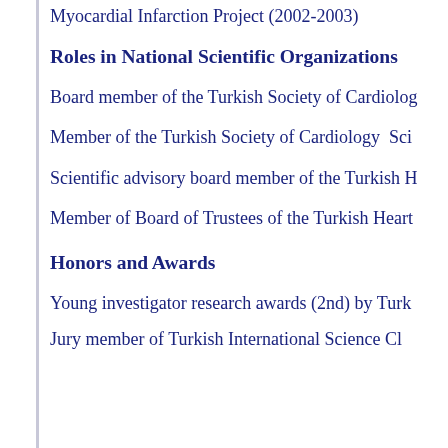Myocardial Infarction Project (2002-2003)
Roles in National Scientific Organizations
Board member of the Turkish Society of Cardiology
Member of the Turkish Society of Cardiology  Scientific
Scientific advisory board member of the Turkish H
Member of Board of Trustees of the Turkish Heart
Honors and Awards
Young investigator research awards (2nd) by Turk
Jury member of Turkish International Science Cl